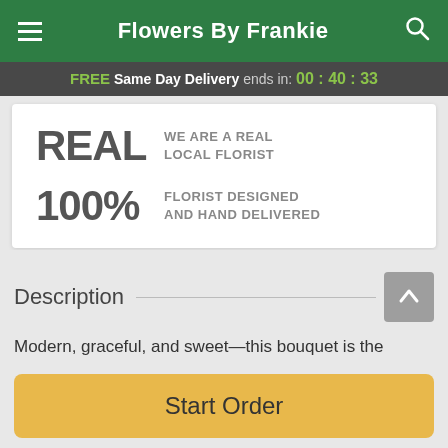Flowers By Frankie
FREE Same Day Delivery ends in: 00 : 40 : 33
REAL WE ARE A REAL LOCAL FLORIST
100% FLORIST DESIGNED AND HAND DELIVERED
Description
Modern, graceful, and sweet—this bouquet is the perfect treat. With its striking good looks, it's an irresistible gift for
Start Order